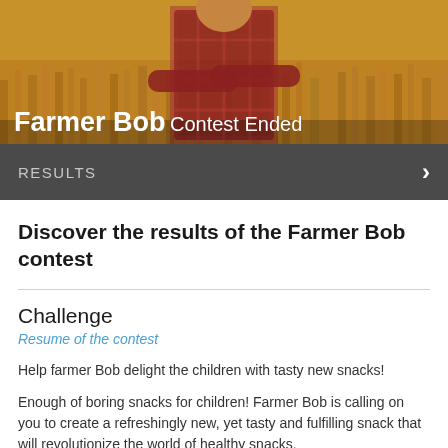[Figure (photo): Hero image showing a farmer in a plaid shirt standing in a wheat field with arms crossed, with overlay text 'Farmer Bob Contest Ended' and a dark gray results bar at the bottom with 'RESULTS' label and right arrow]
Discover the results of the Farmer Bob contest
Challenge
Resume of the contest
Help farmer Bob delight the children with tasty new snacks!
Enough of boring snacks for children! Farmer Bob is calling on you to create a refreshingly new, yet tasty and fulfilling snack that will revolutionize the world of healthy snacks.